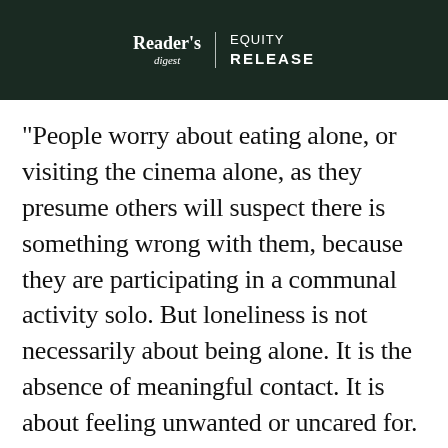[Figure (logo): Reader's Digest Equity Release banner header with dark green/black background and white text logo]
"People worry about eating alone, or visiting the cinema alone, as they presume others will suspect there is something wrong with them, because they are participating in a communal activity solo. But loneliness is not necessarily about being alone. It is the absence of meaningful contact. It is about feeling unwanted or uncared for. Chosen solitude is not an extension of that."